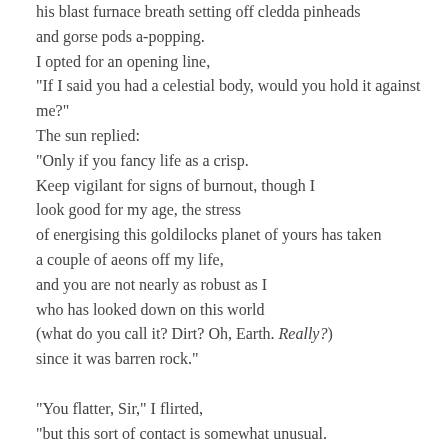his blast furnace breath setting off cledda pinheads and gorse pods a-popping.
I opted for an opening line,
"If I said you had a celestial body, would you hold it against me?"
The sun replied:
"Only if you fancy life as a crisp.
Keep vigilant for signs of burnout, though I
look good for my age, the stress
of energising this goldilocks planet of yours has taken
a couple of aeons off my life,
and you are not nearly as robust as I
who has looked down on this world
(what do you call it? Dirt? Oh, Earth. Really?)
since it was barren rock."

"You flatter, Sir," I flirted,
"but this sort of contact is somewhat unusual.